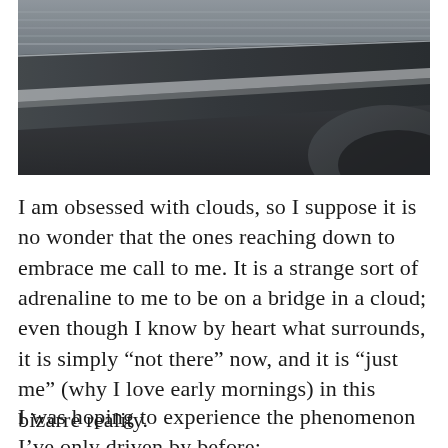[Figure (photo): Close-up photograph of a bridge structure in dark, moody tones. Dark grey concrete and metal surfaces with diagonal lines and curves, possibly shot in foggy or overcast conditions. The image shows the underside or side of bridge infrastructure at an angle.]
I am obsessed with clouds, so I suppose it is no wonder that the ones reaching down to embrace me call to me. It is a strange sort of adrenaline to me to be on a bridge in a cloud; even though I know by heart what surrounds, it is simply “not there” now, and it is “just me” (why I love early mornings) in this bizarre reality.
I was hoping to experience the phenomenon I’ve only driven by before: